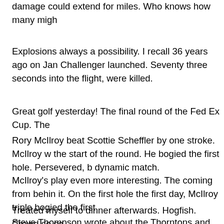damage could extend for miles. Who knows how many migh
Explosions always a possibility. I recall 36 years ago on Jan Challenger launched. Seventy three seconds into the flight, were killed.
Great golf yesterday! The final round of the Fed Ex Cup. The
Rory McIlroy beat Scottie Scheffler by one stroke. McIlroy w the start of the round. He bogied the first hole. Persevered, b dynamic match.
McIlroy's play even more interesting. The coming from behin it. On the first hole the first day, McIlroy triple bogied the first
Treated myself to dinner afterwards. Hogfish. Crowd so so.
Steve Thompson wrote about the Thorntons and Hurricane Birmingham became the safety haven for E Key Westers du